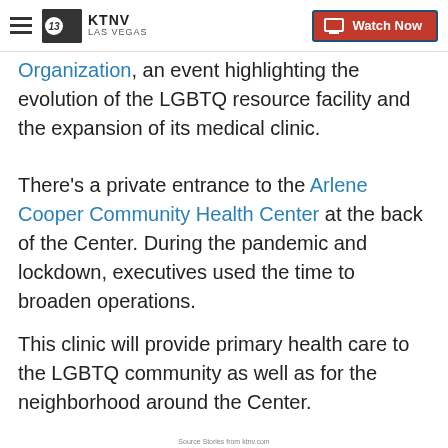[Figure (screenshot): KTNV Las Vegas navigation bar with hamburger menu, ABC13 KTNV Las Vegas logo, and red Watch Now button]
Organization, an event highlighting the evolution of the LGBTQ resource facility and the expansion of its medical clinic.
There's a private entrance to the Arlene Cooper Community Health Center at the back of the Center. During the pandemic and lockdown, executives used the time to broaden operations.
This clinic will provide primary health care to the LGBTQ community as well as for the neighborhood around the Center.
Source: stories from ktnv.com